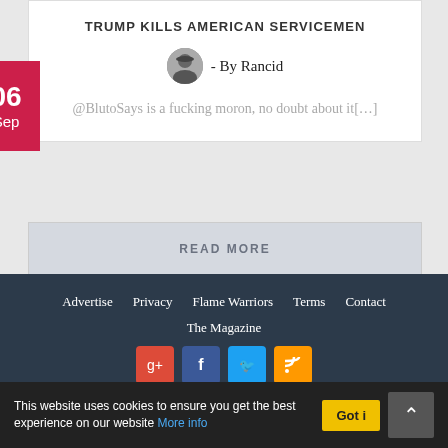TRUMP KILLS AMERICAN SERVICEMEN
- By Rancid
@BlutoSays is a fucking moron, no doubt about it[…]
READ MORE
VIEW MORE TOPICS
Advertise   Privacy   Flame Warriors   Terms   Contact   The Magazine
This website uses cookies to ensure you get the best experience on our website More info